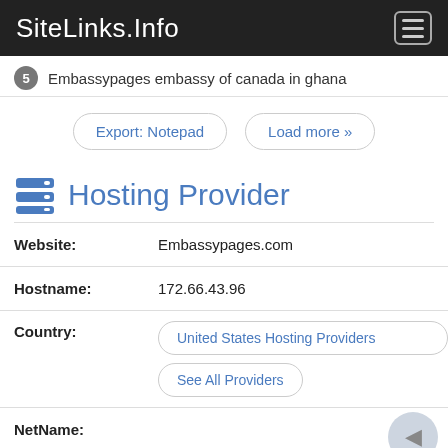SiteLinks.Info
5 Embassypages embassy of canada in ghana
Export: Notepad | Load more »
Hosting Provider
| Field | Value |
| --- | --- |
| Website: | Embassypages.com |
| Hostname: | 172.66.43.96 |
| Country: | United States Hosting Providers / See All Providers |
| NetName: | CLOUDFLARENET |